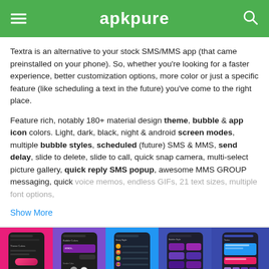apkpure
Textra is an alternative to your stock SMS/MMS app (that came preinstalled on your phone). So, whether you're looking for a faster experience, better customization options, more color or just a specific feature (like scheduling a text in the future) you've come to the right place.
Feature rich, notably 180+ material design theme, bubble & app icon colors. Light, dark, black, night & android screen modes, multiple bubble styles, scheduled (future) SMS & MMS, send delay, slide to delete, slide to call, quick snap camera, multi-select picture gallery, quick reply SMS popup, awesome MMS GROUP messaging, quick voice memos, endless GIFs, 21 text sizes, multiple font options,
Show More
[Figure (screenshot): Five Android phone screenshots showing Textra app interface: Theme Colors, Bubble Colors, Emoji Night, Bubble Style, and Inbox screens on colorful backgrounds (pink, purple, blue, dark blue, dark blue).]